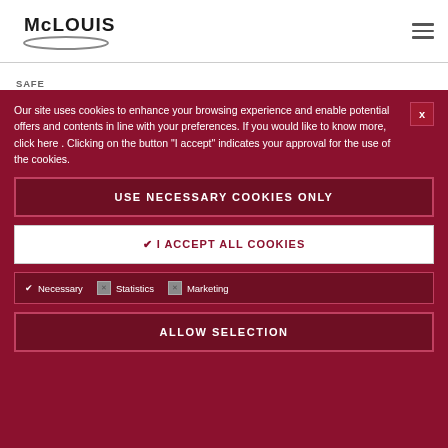[Figure (logo): McLouis logo with ellipse underneath]
SAFE
The doors are equipped with a double lock.
Our site uses cookies to enhance your browsing experience and enable potential offers and contents in line with your preferences. If you would like to know more, click here . Clicking on the button "I accept" indicates your approval for the use of the cookies.
USE NECESSARY COOKIES ONLY
✔ I ACCEPT ALL COOKIES
✔ Necessary    ☐ Statistics    ☐ Marketing
ALLOW SELECTION